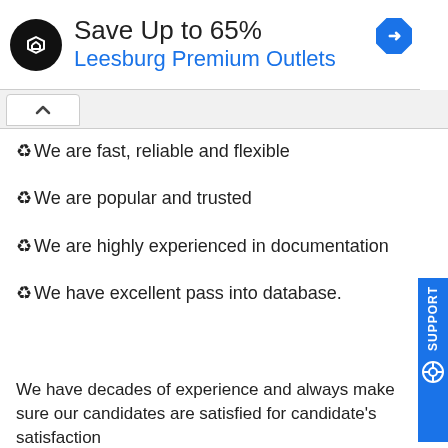[Figure (screenshot): Advertisement banner: black circular logo with arrow symbol, text 'Save Up to 65%' in dark, 'Leesburg Premium Outlets' in blue, blue diamond navigation arrow icon on right]
We are fast, reliable and flexible
We are popular and trusted
We are highly experienced in documentation
We have excellent pass into database.
We have decades of experience and always make sure our candidates are satisfied for candidate's satisfaction